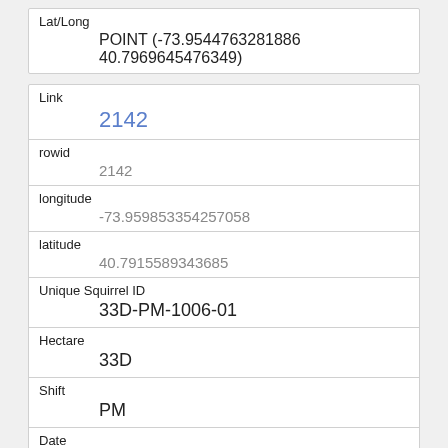| Field | Value |
| --- | --- |
| Lat/Long | POINT (-73.9544763281886 40.7969645476349) |
| Field | Value |
| --- | --- |
| Link | 2142 |
| rowid | 2142 |
| longitude | -73.959853354257058 |
| latitude | 40.7915589343685 |
| Unique Squirrel ID | 33D-PM-1006-01 |
| Hectare | 33D |
| Shift | PM |
| Date | 10062018 |